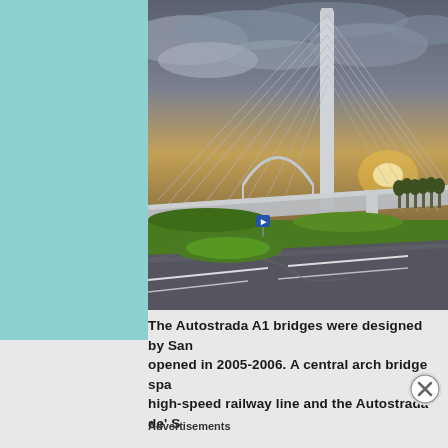[Figure (photo): Cable-stayed bridge and arch bridge on Autostrada A1, photographed from a roundabout with green grass median. Dramatic cloudy sky at sunset with sunlight breaking through. Large concrete pylon with cables visible in foreground, arch bridge visible in background.]
The Autostrada A1 bridges were designed by San... opened in 2005-2006. A central arch bridge spa... high-speed railway line and the Autostrada de' S...
Advertisements